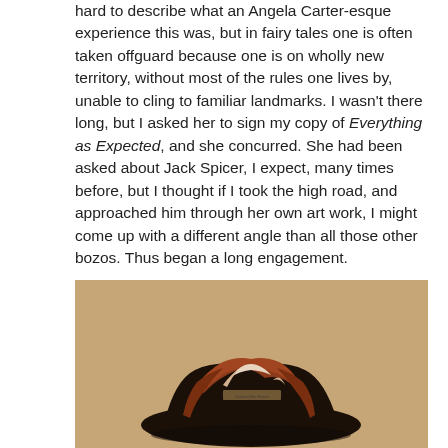hard to describe what an Angela Carter-esque experience this was, but in fairy tales one is often taken offguard because one is on wholly new territory, without most of the rules one lives by, unable to cling to familiar landmarks. I wasn't there long, but I asked her to sign my copy of Everything as Expected, and she concurred. She had been asked about Jack Spicer, I expect, many times before, but I thought if I took the high road, and approached him through her own art work, I might come up with a different angle than all those other bozos. Thus began a long engagement.
[Figure (photo): A photograph of what appears to be a sculptural or assemblage artwork placed on a brown cardboard-like surface. The object is dark-colored with torn or layered reddish-brown and white textured materials, resembling a bird or organic form. There is small text visible near the center of the object.]